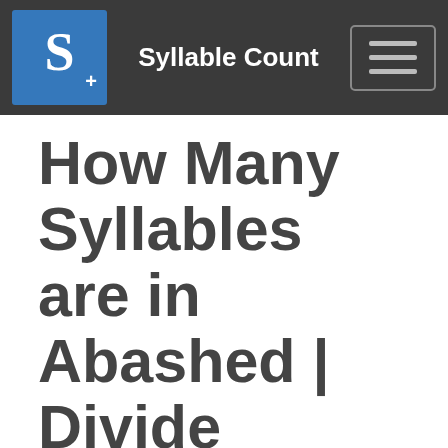Syllable Count
How Many Syllables are in Abashed | Divide Abashed into Syllables
[Figure (other): Social sharing buttons: Like (Facebook), Share (Google+), Tweet (Twitter), Pin it (Pinterest), share icon (green)]